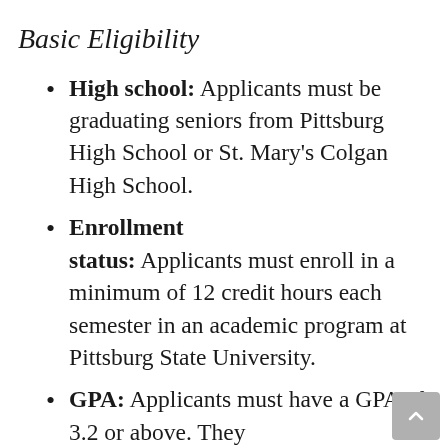Basic Eligibility
High school: Applicants must be graduating seniors from Pittsburg High School or St. Mary's Colgan High School.
Enrollment status: Applicants must enroll in a minimum of 12 credit hours each semester in an academic program at Pittsburg State University.
GPA: Applicants must have a GPA of 3.2 or above. They